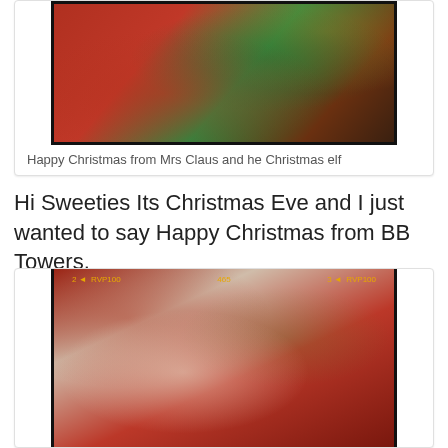[Figure (photo): Photo of a woman in red and a child in green/teal, Christmas setting]
Happy Christmas from Mrs Claus and he Christmas elf
Hi Sweeties Its Christmas Eve and I just wanted to say Happy Christmas from BB Towers.
[Figure (photo): Photo of Santa Claus with a child dressed as an elf, taken with a phone camera showing status bar with RVP100 text]